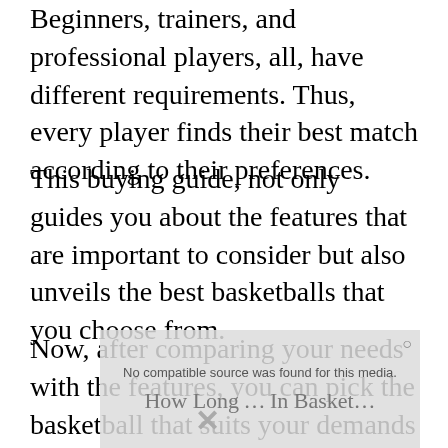Beginners, trainers, and professional players, all, have different requirements. Thus, every player finds their best match according to their preferences.
This buying guide, not only guides you about the features that are important to consider but also unveils the best basketballs that you choose from.
Now, after comparing your needs with the features, you can pick the basketball that suits your demands and you will make a satisfactory choice for sure.
[Figure (screenshot): A video player overlay showing 'No compatible source was found for this media.' with a 'How Long...' title partially visible and an X close button.]